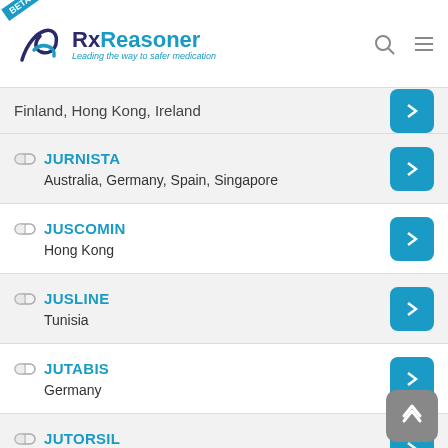RxReasoner - Leading the way to safer medication
Finland, Hong Kong, Ireland
JURNISTA - Australia, Germany, Spain, Singapore
JUSCOMIN - Hong Kong
JUSLINE - Tunisia
JUTABIS - Germany
JUTORSIL - Hong Kong